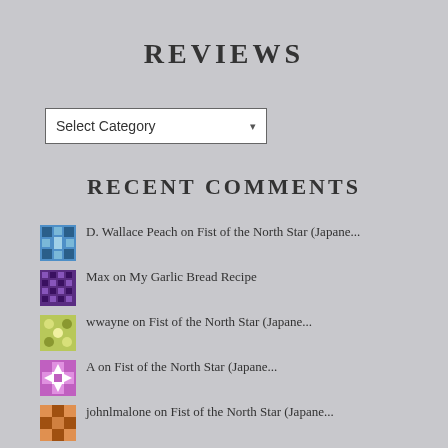REVIEWS
Select Category
RECENT COMMENTS
D. Wallace Peach on Fist of the North Star (Japane...
Max on My Garlic Bread Recipe
wwayne on Fist of the North Star (Japane...
A on Fist of the North Star (Japane...
johnlmalone on Fist of the North Star (Japane...